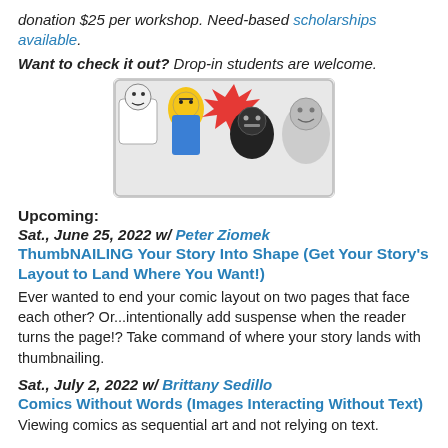donation $25 per workshop. Need-based scholarships available.
Want to check it out? Drop-in students are welcome.
[Figure (illustration): Comic illustration showing multiple cartoon characters including a Lego-style figure, a character with yellow hair and glasses, a person in dark clothing, and other stylized comic characters.]
Upcoming:
Sat., June 25, 2022 w/ Peter Ziomek
ThumbNAILING Your Story Into Shape (Get Your Story's Layout to Land Where You Want!)
Ever wanted to end your comic layout on two pages that face each other? Or...intentionally add suspense when the reader turns the page!? Take command of where your story lands with thumbnailing.
Sat., July 2, 2022 w/ Brittany Sedillo
Comics Without Words (Images Interacting Without Text)
Viewing comics as sequential art and not relying on text.